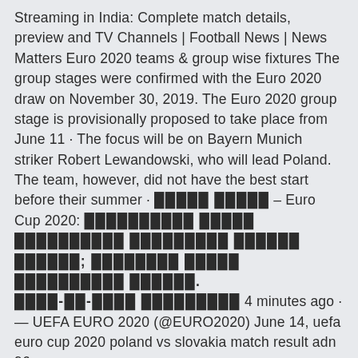Streaming in India: Complete match details, preview and TV Channels | Football News | News Matters Euro 2020 teams & group wise fixtures The group stages were confirmed with the Euro 2020 draw on November 30, 2019. The Euro 2020 group stage is provisionally proposed to take place from June 11 · The focus will be on Bayern Munich striker Robert Lewandowski, who will lead Poland. The team, however, did not have the best start before their summer · █████ █████ – Euro Cup 2020: ██████████ █████ ██████████ █████████ ██████ ██████; ████████ █████ ██████████ ██████. ████-██-████ █████████ 4 minutes ago · — UEFA EURO 2020 (@EURO2020) June 14, uefa euro cup 2020 poland vs slovakia match result adn 96. Helwandts News Months News Comments News